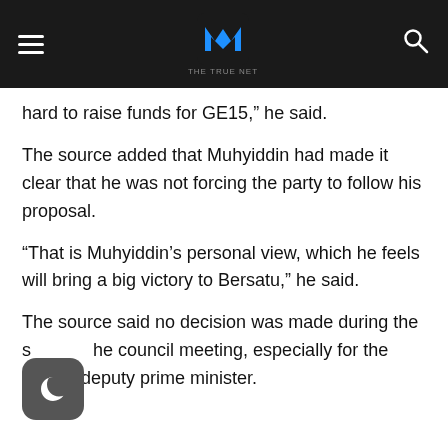THE TRUE NET
hard to raise funds for GE15,” he said.
The source added that Muhyiddin had made it clear that he was not forcing the party to follow his proposal.
“That is Muhyiddin’s personal view, which he feels will bring a big victory to Bersatu,” he said.
The source said no decision was made during the s…he council meeting, especially for the post of deputy prime minister.